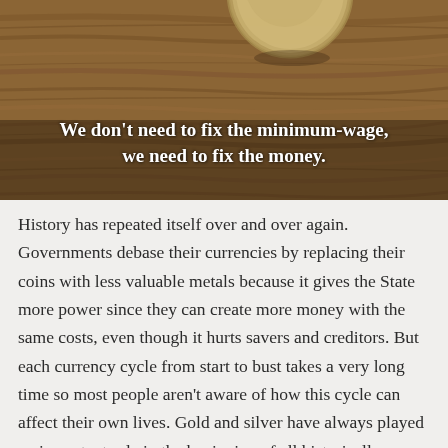[Figure (photo): A coin balanced on its edge on a wooden surface, with text overlay reading: 'We don't need to fix the minimum-wage, we need to fix the money.']
History has repeated itself over and over again. Governments debase their currencies by replacing their coins with less valuable metals because it gives the State more power since they can create more money with the same costs, even though it hurts savers and creditors. But each currency cycle from start to bust takes a very long time so most people aren't aware of how this cycle can affect their own lives. Gold and silver have always played an important role in the beginning of all historically significant currencies, including the present day U.S. dollar. To diversify currency risk, I propose making some silver